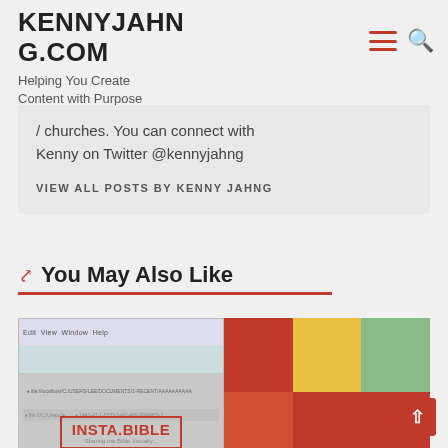KENNYJAHNG.COM
Helping You Create Content with Purpose
/ churches. You can connect with Kenny on Twitter @kennyjahng
VIEW ALL POSTS BY KENNY JAHNG
You May Also Like
[Figure (screenshot): Screenshot showing Insta.Bible website and a color grid image side by side, plus a bottom image showing INSTA BIBLE logo in orange]
INSTA BIBLE